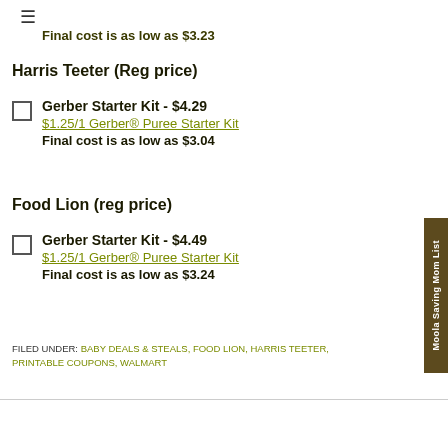≡
Final cost is as low as $3.23
Harris Teeter (Reg price)
Gerber Starter Kit - $4.29
$1.25/1 Gerber® Puree Starter Kit
Final cost is as low as $3.04
Food Lion (reg price)
Gerber Starter Kit - $4.49
$1.25/1 Gerber® Puree Starter Kit
Final cost is as low as $3.24
FILED UNDER: BABY DEALS & STEALS, FOOD LION, HARRIS TEETER, PRINTABLE COUPONS, WALMART